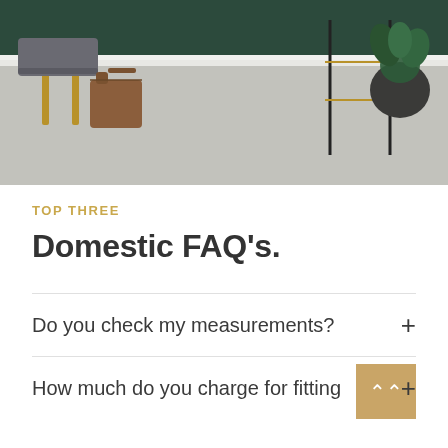[Figure (photo): Interior room photo showing a grey carpet floor with a grey upholstered stool on wooden legs, a brown leather bag, black metal shelving, and a dark green potted plant against a white baseboard wall with dark green upper wall.]
TOP THREE
Domestic FAQ's.
Do you check my measurements?
How much do you charge for fitting